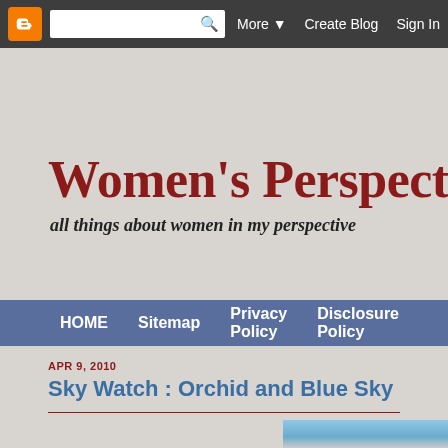Blogger | More ▼ | Create Blog | Sign In
Women's Perspectiv
all things about women in my perspective
HOME   Sitemap   Privacy Policy   Disclosure Policy
APR 9, 2010
Sky Watch : Orchid and Blue Sky
[Figure (photo): Blue sky photograph, cropped view showing sky and clouds]